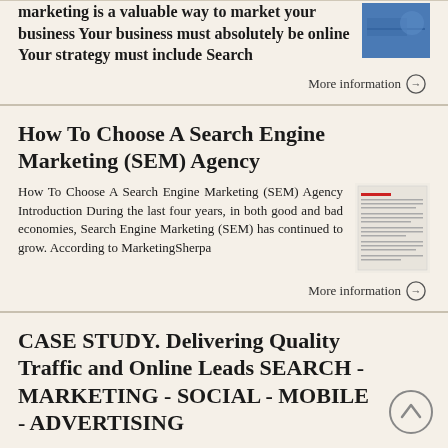marketing is a valuable way to market your business Your business must absolutely be online Your strategy must include Search
More information →
How To Choose A Search Engine Marketing (SEM) Agency
How To Choose A Search Engine Marketing (SEM) Agency Introduction During the last four years, in both good and bad economies, Search Engine Marketing (SEM) has continued to grow. According to MarketingSherpa
More information →
CASE STUDY. Delivering Quality Traffic and Online Leads SEARCH - MARKETING - SOCIAL - MOBILE - ADVERTISING